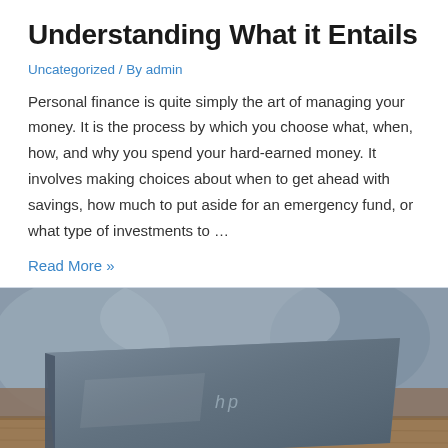Understanding What it Entails
Uncategorized / By admin
Personal finance is quite simply the art of managing your money. It is the process by which you choose what, when, how, and why you spend your hard-earned money. It involves making choices about when to get ahead with savings, how much to put aside for an emergency fund, or what type of investments to …
Read More »
[Figure (photo): HP laptop partially closed, viewed from the side on a wooden surface with blurred background]